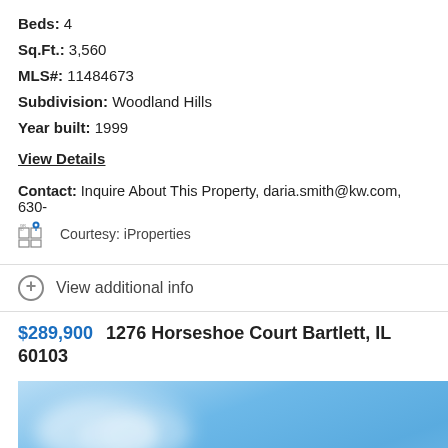Beds: 4
Sq.Ft.: 3,560
MLS#: 11484673
Subdivision: Woodland Hills
Year built: 1999
View Details
Contact: Inquire About This Property, daria.smith@kw.com, 630-
Courtesy: iProperties
View additional info
$289,900  1276 Horseshoe Court Bartlett, IL 60103
[Figure (photo): Exterior photo of property showing blue sky with clouds]